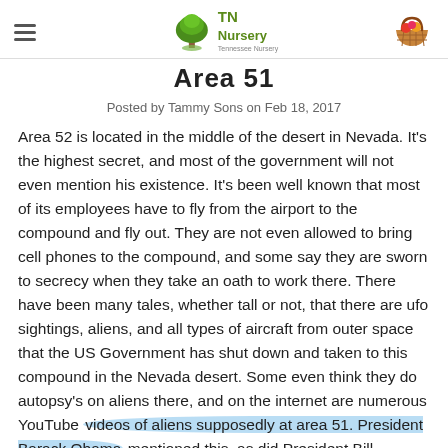TN Nursery
Area 51
Posted by Tammy Sons on Feb 18, 2017
Area 52 is located in the middle of the desert in Nevada. It's the highest secret, and most of the government will not even mention his existence. It's been well known that most of its employees have to fly from the airport to the compound and fly out. They are not even allowed to bring cell phones to the compound, and some say they are sworn to secrecy when they take an oath to work there. There have been many tales, whether tall or not, that there are ufo sightings, aliens, and all types of aircraft from outer space that the US Government has shut down and taken to this compound in the Nevada desert. Some even think they do autopsy's on aliens there, and on the internet are numerous YouTube videos of aliens supposedly at area 51. President Barack Obama mentioned this, as did President Bill Clinton. The only two